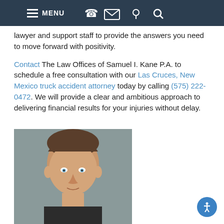MENU (navigation bar with phone, email, location, search icons)
lawyer and support staff to provide the answers you need to move forward with positivity.
Contact The Law Offices of Samuel I. Kane P.A. to schedule a free consultation with our Las Cruces, New Mexico truck accident attorney today by calling (575) 222-0472. We will provide a clear and ambitious approach to delivering financial results for your injuries without delay.
[Figure (photo): Headshot photo of a man with short brown hair and blue eyes against a gray background]